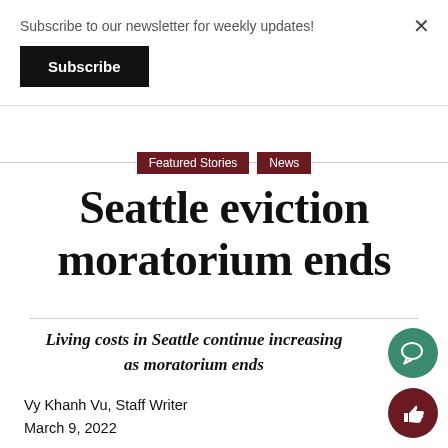Subscribe to our newsletter for weekly updates!
Subscribe
Featured Stories
News
Seattle eviction moratorium ends
Living costs in Seattle continue increasing as moratorium ends
Vy Khanh Vu, Staff Writer
March 9, 2022